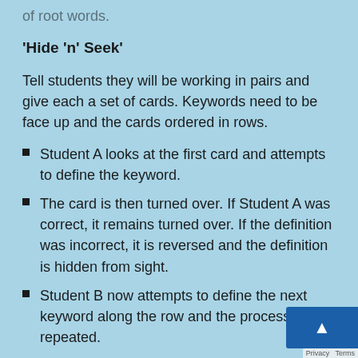of root words.
'Hide 'n' Seek'
Tell students they will be working in pairs and give each a set of cards. Keywords need to be face up and the cards ordered in rows.
Student A looks at the first card and attempts to define the keyword.
The card is then turned over. If Student A was correct, it remains turned over. If the definition was incorrect, it is reversed and the definition is hidden from sight.
Student B now attempts to define the next keyword along the row and the process is repeated.
The activity continues until all of the cards have been turned over – i.e. defined correctly.
Learning occurs effortlessly in this game with the